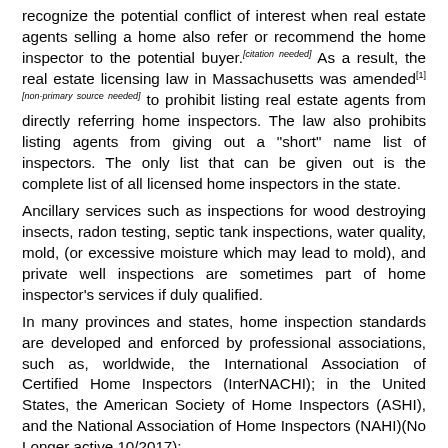recognize the potential conflict of interest when real estate agents selling a home also refer or recommend the home inspector to the potential buyer.[citation needed] As a result, the real estate licensing law in Massachusetts was amended[1][non-primary source needed] to prohibit listing real estate agents from directly referring home inspectors. The law also prohibits listing agents from giving out a "short" name list of inspectors. The only list that can be given out is the complete list of all licensed home inspectors in the state.
Ancillary services such as inspections for wood destroying insects, radon testing, septic tank inspections, water quality, mold, (or excessive moisture which may lead to mold), and private well inspections are sometimes part of home inspector's services if duly qualified.
In many provinces and states, home inspection standards are developed and enforced by professional associations, such as, worldwide, the International Association of Certified Home Inspectors (InterNACHI); in the United States, the American Society of Home Inspectors (ASHI), and the National Association of Home Inspectors (NAHI)(No Longer active 10/2017);